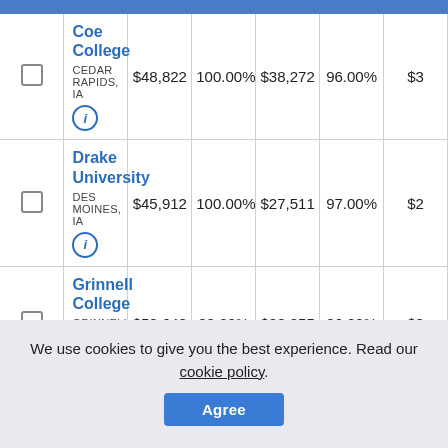|  | College | Cost | Aid % | Avg Aid | Grad % | ... |
| --- | --- | --- | --- | --- | --- | --- |
| ☐ | Coe College
CEDAR RAPIDS, IA | $48,822 | 100.00% | $38,272 | 96.00% | $3... |
| ☐ | Drake University
DES MOINES, IA | $45,912 | 100.00% | $27,511 | 97.00% | $2... |
| ☐ | Grinnell College
GRINNELL, IA | $58,648 | 88.00% | $38,255 | 86.00% | $3... |
We use cookies to give you the best experience. Read our cookie policy.